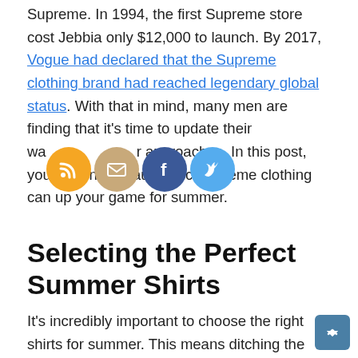Supreme. In 1994, the first Supreme store cost Jebbia only $12,000 to launch. By 2017, Vogue had declared that the Supreme clothing brand had reached legendary global status. With that in mind, many men are finding that it's time to update their wardrobe with ultimate approaches. In this post, you'll learn how authentic Supreme clothing can up your game for summer.
[Figure (other): Social sharing icons: RSS (orange), Email (tan/brown), Facebook (blue), Twitter (light blue) — circular icons in a row]
Selecting the Perfect Summer Shirts
It's incredibly important to choose the right shirts for summer. This means ditching the long sleeves and sweaters. As the weather warms up, it also